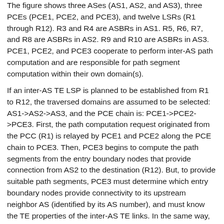The figure shows three ASes (AS1, AS2, and AS3), three PCEs (PCE1, PCE2, and PCE3), and twelve LSRs (R1 through R12). R3 and R4 are ASBRs in AS1. R5, R6, R7, and R8 are ASBRs in AS2. R9 and R10 are ASBRs in AS3. PCE1, PCE2, and PCE3 cooperate to perform inter-AS path computation and are responsible for path segment computation within their own domain(s).
If an inter-AS TE LSP is planned to be established from R1 to R12, the traversed domains are assumed to be selected: AS1->AS2->AS3, and the PCE chain is: PCE1->PCE2->PCE3. First, the path computation request originated from the PCC (R1) is relayed by PCE1 and PCE2 along the PCE chain to PCE3. Then, PCE3 begins to compute the path segments from the entry boundary nodes that provide connection from AS2 to the destination (R12). But, to provide suitable path segments, PCE3 must determine which entry boundary nodes provide connectivity to its upstream neighbor AS (identified by its AS number), and must know the TE properties of the inter-AS TE links. In the same way, PCE2 also needs to determine the entry boundary nodes